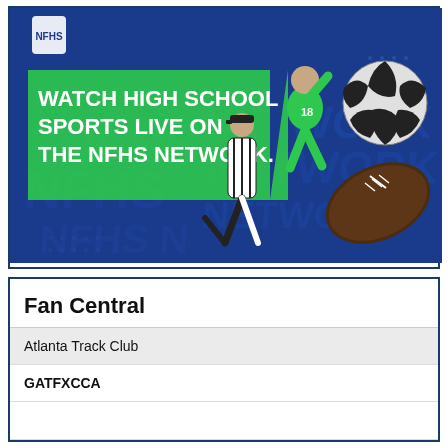[Figure (illustration): NFHS Network advertisement with dark blue background showing athletes (soccer player in green jersey #18, baseball/football player) and sports balls (soccer ball, football). Bold white text reads 'WATCH HIGH SCHOOL SPORTS LIVE ON THE NFHS NETWORK.' with green accent bars. NFHS logo in top left.]
Fan Central
Atlanta Track Club
GATFXCCA